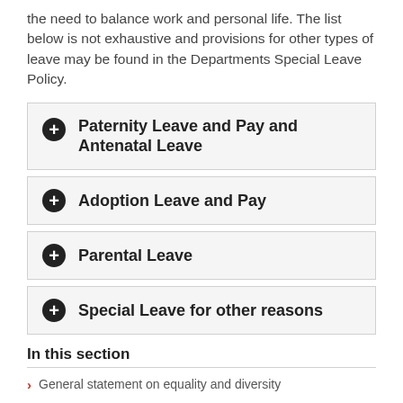the need to balance work and personal life. The list below is not exhaustive and provisions for other types of leave may be found in the Departments Special Leave Policy.
Paternity Leave and Pay and Antenatal Leave
Adoption Leave and Pay
Parental Leave
Special Leave for other reasons
In this section
General statement on equality and diversity